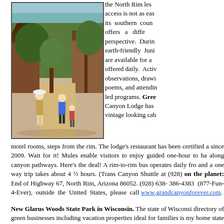[Figure (photo): Outdoor scene at Grand Canyon North Rim lodge area with people walking on a path, wooden buildings and trees visible]
the North Rim less access is not as easy its southern counte offers a differ perspective. During earth-friendly Junio are available for a offered daily. Activi observations, drawin poems, and attendin led programs. Green Canyon Lodge has vintage looking cab motel rooms, steps from the rim. The lodge's restaurant has been certified a since 2009. Wait for it! Mules enable visitors to enjoy guided one-hour to ha along canyon pathways. Here's the deal! A rim-to-rim bus operates daily fro and a one way trip takes about 4 ½ hours. (Trans Canyon Shuttle at (928) on the planet: End of Highway 67, North Rim, Arizona 86052. (928) 638- 386-4383 (877-Fun-4-Ever), outside the United States, please call www.grandcanyonforever.com.
New Glarus Woods State Park in Wisconsin. The state of Wisconsi directory of green businesses including vacation properties ideal for families is my home state I have my favorite spots – too many for this article but State Park, a comfy (no frills) family place is worth mentioning. The Park acres and is made for camping plus the wooded campsites provide easy ac Sugar River State Trail - ideal for family hiking or biking. Wildlife popu squirrels, wild turkeys, fox, gophers, and oodles of song birds and wo stargazing is free. Green points: Both the park and the trail are Travel C than 80 acres of native prairie have been restored and over 10,500 tres h